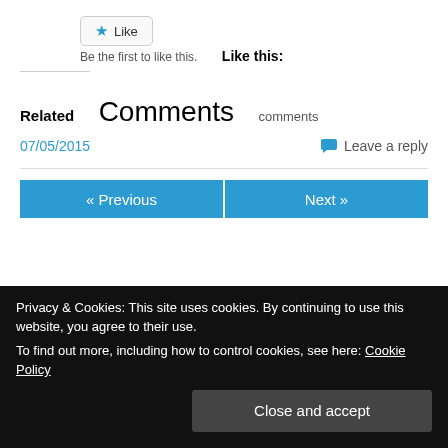★ Like
Be the first to like this.
Like this:
Related
Comments
comments
07/05/2015
Leave a reply
« Previous
Next »
Privacy & Cookies: This site uses cookies. By continuing to use this website, you agree to their use.
To find out more, including how to control cookies, see here: Cookie Policy
Close and accept